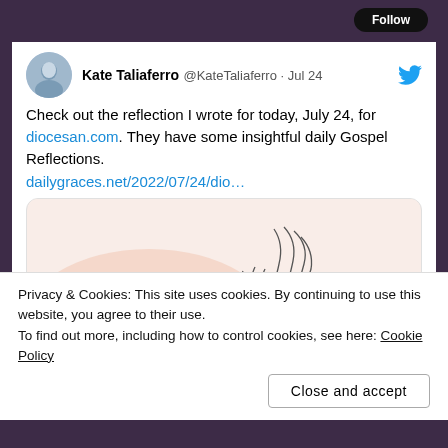Kate Taliaferro @KateTaliaferro · Jul 24
Check out the reflection I wrote for today, July 24, for diocesan.com. They have some insightful daily Gospel Reflections.
dailygraces.net/2022/07/24/dio…
[Figure (illustration): Embedded card with peach/blush background, line-art drawing of hands, and bold text 'Ask' in dark brown serif font]
Privacy & Cookies: This site uses cookies. By continuing to use this website, you agree to their use.
To find out more, including how to control cookies, see here: Cookie Policy
Close and accept